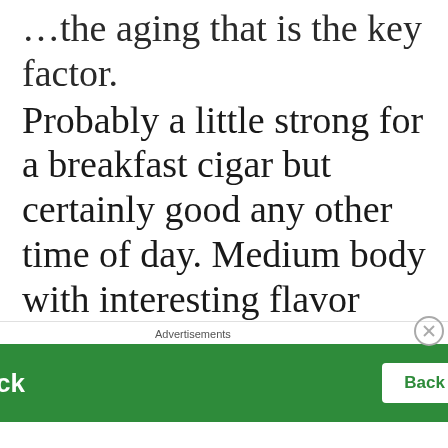…the aging that is the key factor. Probably a little strong for a breakfast cigar but certainly good any other time of day. Medium body with interesting flavor development through the first half and great aroma. Good construction yielding a beauty to look at as well as good draw and burn. Just a little…
[Figure (other): Jetpack advertisement banner with 'Back up your site' button on green background]